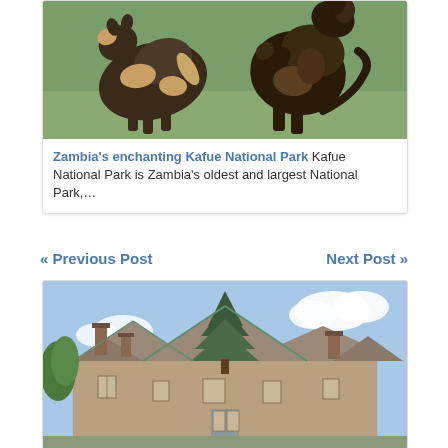[Figure (photo): Two wild animals (African wild dogs or similar) interacting/playing on green grass background]
Zambia's enchanting Kafue National Park Kafue National Park is Zambia's oldest and largest National Park,…
« Previous Post
Next Post »
[Figure (photo): Victorian-style stone building with multiple steep gabled rooftops, chimneys, and a tall conifer tree against a partly cloudy blue sky]